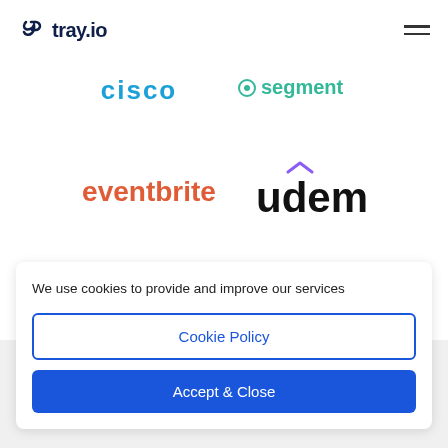tray.io
[Figure (logo): Cisco logo in blue text]
[Figure (logo): Segment logo partially visible in teal/green]
[Figure (logo): Eventbrite logo in orange-red text]
[Figure (logo): Udemy logo in black text with purple accent hat above U]
We use cookies to provide and improve our services
Cookie Policy
Accept & Close